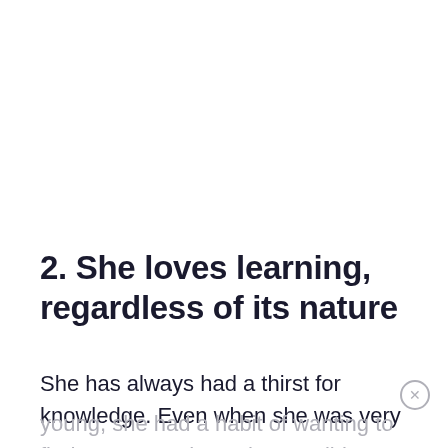2. She loves learning, regardless of its nature
She has always had a thirst for knowledge. Even when she was very
young, she had a habit of wanting to find out as much as she possibly could about